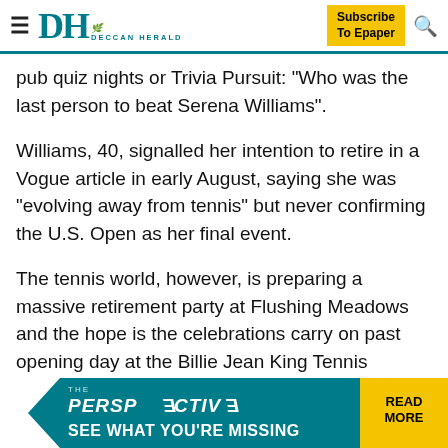Deccan Herald
pub quiz nights or Trivia Pursuit: "Who was the last person to beat Serena Williams".
Williams, 40, signalled her intention to retire in a Vogue article in early August, saying she was "evolving away from tennis" but never confirming the U.S. Open as her final event.
The tennis world, however, is preparing a massive retirement party at Flushing Meadows and the hope is the celebrations carry on past opening day at the Billie Jean King Tennis Center.
Kovinic, an anonymous figure who has spent much of her career grinding away on outside courts, playing qualifiers
[Figure (infographic): The Perspective advertisement banner: teal background with 'THE PERSPECTIVE' text, 'SEE WHAT YOU'RE MISSING' below, and yellow 'READ MORE' button on the right.]